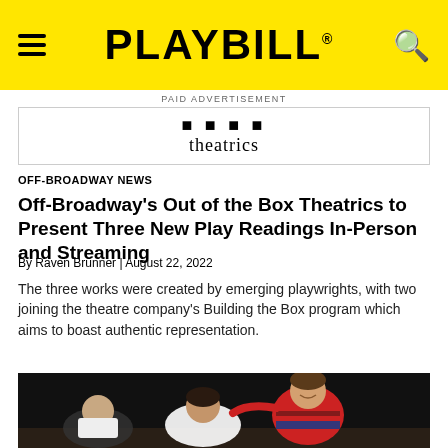PLAYBILL
PAID ADVERTISEMENT
[Figure (logo): Out of the Box Theatrics logo with stylized letters and 'theatrics' in serif font]
OFF-BROADWAY NEWS
Off-Broadway's Out of the Box Theatrics to Present Three New Play Readings In-Person and Streaming
By Raven Brunner | August 22, 2022
The three works were created by emerging playwrights, with two joining the theatre company's Building the Box program which aims to boast authentic representation.
[Figure (photo): Two actors on stage, one in a white shirt and one in a red and blue striped sweater, smiling and embracing in a theatre setting]